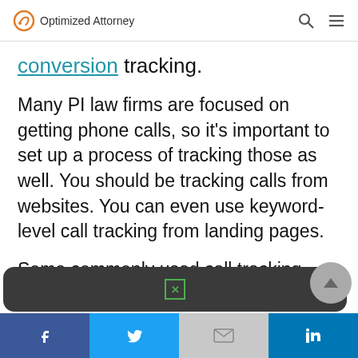Optimized Attorney
conversion tracking.
Many PI law firms are focused on getting phone calls, so it's important to set up a process of tracking those as well. You should be tracking calls from websites. You can even use keyword-level call tracking from landing pages.
Some commonly used call tracking